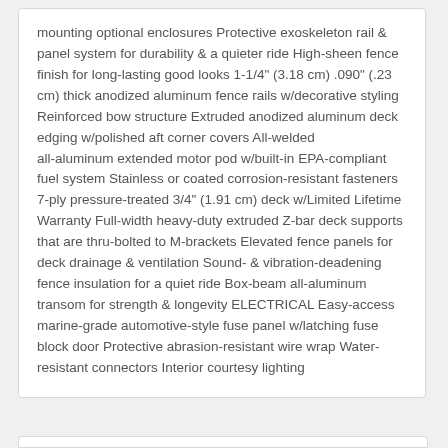mounting optional enclosures Protective exoskeleton rail & panel system for durability & a quieter ride High-sheen fence finish for long-lasting good looks 1-1/4" (3.18 cm) .090" (.23 cm) thick anodized aluminum fence rails w/decorative styling Reinforced bow structure Extruded anodized aluminum deck edging w/polished aft corner covers All-welded all-aluminum extended motor pod w/built-in EPA-compliant fuel system Stainless or coated corrosion-resistant fasteners 7-ply pressure-treated 3/4" (1.91 cm) deck w/Limited Lifetime Warranty Full-width heavy-duty extruded Z-bar deck supports that are thru-bolted to M-brackets Elevated fence panels for deck drainage & ventilation Sound- & vibration-deadening fence insulation for a quiet ride Box-beam all-aluminum transom for strength & longevity ELECTRICAL Easy-access marine-grade automotive-style fuse panel w/latching fuse block door Protective abrasion-resistant wire wrap Water-resistant connectors Interior courtesy lighting